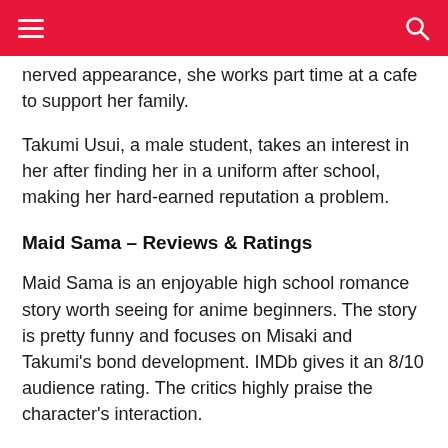≡  [search icon]
nerved appearance, she works part time at a cafe to support her family.
Takumi Usui, a male student, takes an interest in her after finding her in a uniform after school, making her hard-earned reputation a problem.
Maid Sama – Reviews & Ratings
Maid Sama is an enjoyable high school romance story worth seeing for anime beginners. The story is pretty funny and focuses on Misaki and Takumi's bond development. IMDb gives it an 8/10 audience rating. The critics highly praise the character's interaction.